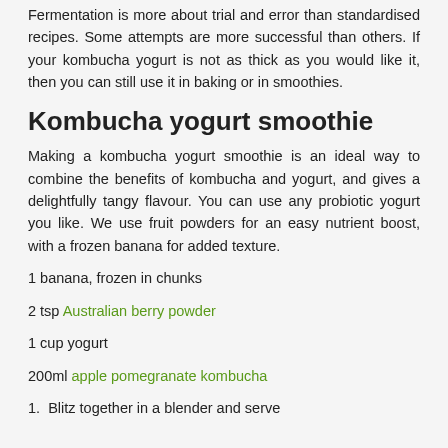Fermentation is more about trial and error than standardised recipes. Some attempts are more successful than others. If your kombucha yogurt is not as thick as you would like it, then you can still use it in baking or in smoothies.
Kombucha yogurt smoothie
Making a kombucha yogurt smoothie is an ideal way to combine the benefits of kombucha and yogurt, and gives a delightfully tangy flavour. You can use any probiotic yogurt you like. We use fruit powders for an easy nutrient boost, with a frozen banana for added texture.
1 banana, frozen in chunks
2 tsp Australian berry powder
1 cup yogurt
200ml apple pomegranate kombucha
1. Blitz together in a blender and serve